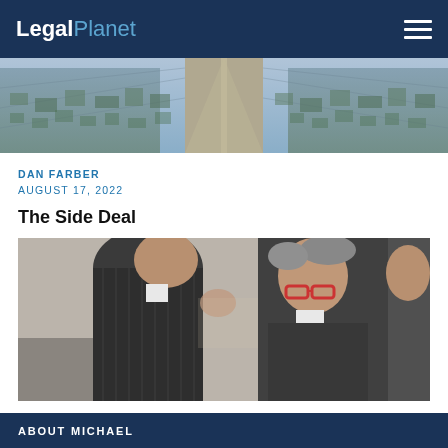LegalPlanet
[Figure (photo): Aerial photograph of a city with a highway running through the center]
DAN FARBER
AUGUST 17, 2022
The Side Deal
[Figure (photo): Two older men in suits leaning their heads together in conversation, one wearing red-framed glasses]
ABOUT MICHAEL